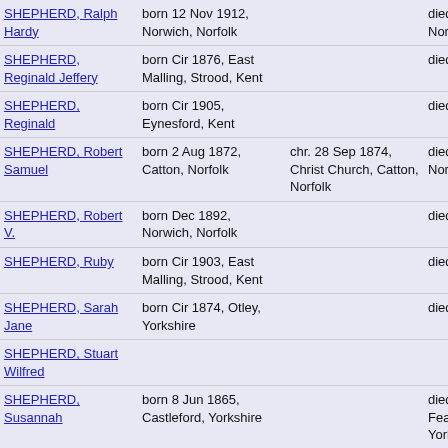| Name | Birth | Christening | Death |
| --- | --- | --- | --- |
| SHEPHERD, Ralph Hardy | born 12 Nov 1912, Norwich, Norfolk |  | died Dec 1973, Norwich, Norfolk |
| SHEPHERD, Reginald Jeffery | born Cir 1876, East Malling, Strood, Kent |  | died Y |
| SHEPHERD, Reginald | born Cir 1905, Eynesford, Kent |  | died Y |
| SHEPHERD, Robert Samuel | born 2 Aug 1872, Catton, Norfolk | chr. 28 Sep 1874, Christ Church, Catton, Norfolk | died Dec 1952, Norwich, Norfolk |
| SHEPHERD, Robert V. | born Dec 1892, Norwich, Norfolk |  | died Norwich, Norfolk |
| SHEPHERD, Ruby | born Cir 1903, East Malling, Strood, Kent |  | died Y |
| SHEPHERD, Sarah Jane | born Cir 1874, Otley, Yorkshire |  | died Y |
| SHEPHERD, Stuart Wilfred |  |  |  |
| SHEPHERD, Susannah | born 8 Jun 1865, Castleford, Yorkshire |  | died 3 Mar 1950, Featherstone, Yorkshire |